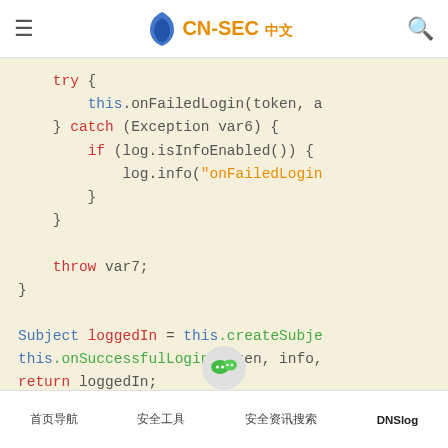CN-SEC 中文
[Figure (screenshot): Code snippet showing Java try-catch block with onFailedLogin, then Subject loggedIn = this.createSubject, this.onSuccessfulLogin, and return loggedIn statements]
首页导航 | 安全工具 | 安全资讯搜索 | DNSlog